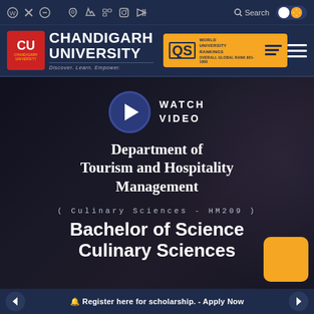Chandigarh University — navigation and icon bar
[Figure (logo): Chandigarh University logo with QS World University Rankings Overall Global Rank 801-1000 badge]
[Figure (screenshot): Watch Video play button with circular dark blue icon]
Department of Tourism and Hospitality Management
( Culinary Sciences - HM209 )
Bachelor of Science Culinary Sciences
Register here for scholarship. - Apply Now